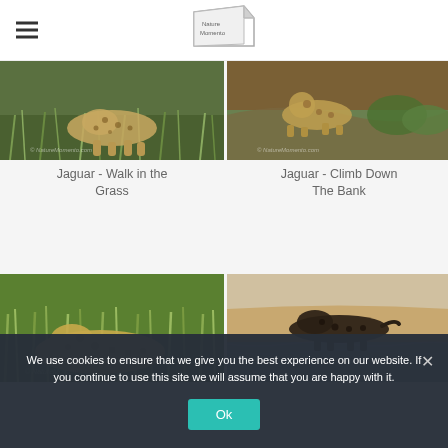[Figure (logo): Nature Momento logo with stylized notebook/paper icon and text 'Nature Momento']
[Figure (photo): Jaguar walking in grass, spotted coat visible, green grass background]
Jaguar - Walk in the Grass
[Figure (photo): Jaguar climbing down a muddy/earthy bank with green vegetation]
Jaguar - Climb Down The Bank
[Figure (photo): Jaguar walking in tall green grass, watermark partially visible]
[Figure (photo): Jaguar walking near water on sandy/muddy riverbank]
We use cookies to ensure that we give you the best experience on our website. If you continue to use this site we will assume that you are happy with it.